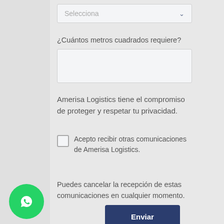Selecciona
¿Cuántos metros cuadrados requiere?
Amerisa Logistics tiene el compromiso de proteger y respetar tu privacidad.
Acepto recibir otras comunicaciones de Amerisa Logistics.
Puedes cancelar la recepción de estas comunicaciones en cualquier momento.
Enviar